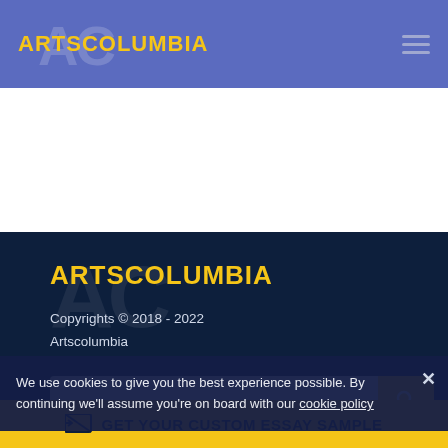ARTSCOLUMBIA
[Figure (logo): ArtsColumbia logo with AC watermark on blue header background]
ARTSCOLUMBIA
Copyrights © 2018 - 2022 Artscolumbia
We use cookies to give you the best experience possible. By continuing we'll assume you're on board with our cookie policy
COMPANY LEGAL
GET YOUR CUSTOM ESSAY SAMPLE